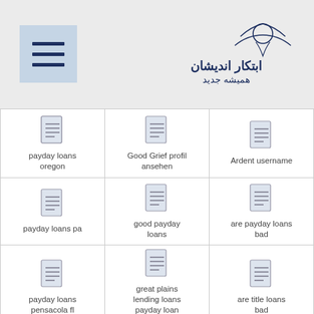[Figure (logo): Website logo with Persian/Arabic script and decorative figure]
| col1 | col2 | col3 |
| --- | --- | --- |
| payday loans oregon | Good Grief profil ansehen | Ardent username |
| payday loans pa | good payday loans | are payday loans bad |
| payday loans pensacola fl | great plains lending loans payday loan online | are title loans bad |
| payday loans phoenix |  | Arizona Online Payday Loan |
|  | green singles |  |